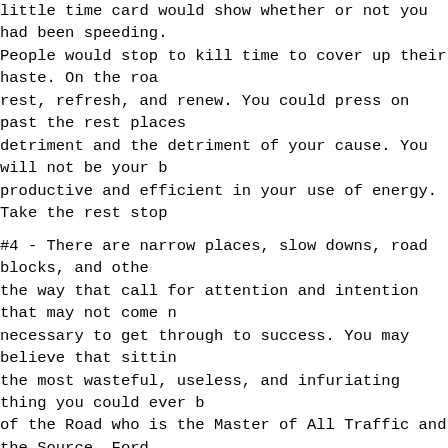little time card would show whether or not you had been speeding. People would stop to kill time to cover up their haste. On the road - rest, refresh, and renew. You could press on past the rest places - to the detriment and the detriment of your cause. You will not be your best, most productive and efficient in your use of energy. Take the rest stops.
#4 - There are narrow places, slow downs, road blocks, and other things on the way that call for attention and intention that may not come naturally but are necessary to get through to success. You may believe that sitting in traffic is the most wasteful, useless, and infuriating thing you could ever be doing. The Lord of the Road who is the Master of All Traffic and the Source, Force behind your dreams and goals knows better. Develop techniques for stilling yourself and channeling your energy toward alternate tasks so that no time is lost and there is purpose in every moment.
#5 - There are inclines and declines on the road to success. Sometimes it takes power to climb and sometimes you coast. It is all one road and one journey - never always easy, it will not always be hard. Keep on keeping on.
#6 - There will be switchbacks - especially if your goals are as lofty as a mountain peak. In mountain driving, which I love, there are 180 degree reverses and 90 degree turns around a hill. If you are watching a compass, it can